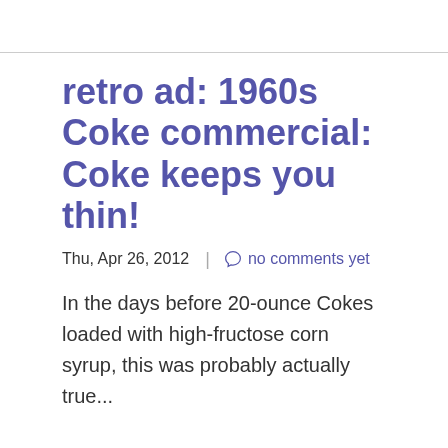retro ad: 1960s Coke commercial: Coke keeps you thin!
Thu, Apr 26, 2012 | no comments yet
In the days before 20-ounce Cokes loaded with high-fructose corn syrup, this was probably actually true...
retro ad: early 1990s